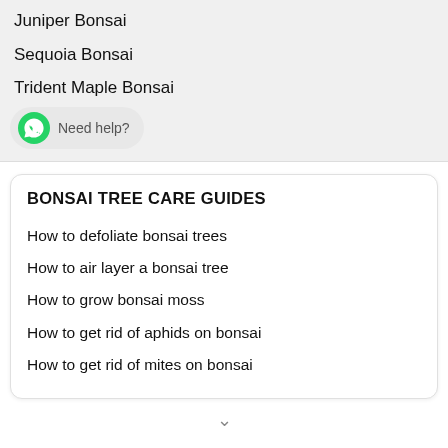Juniper Bonsai
Sequoia Bonsai
Trident Maple Bonsai
Need help?
BONSAI TREE CARE GUIDES
How to defoliate bonsai trees
How to air layer a bonsai tree
How to grow bonsai moss
How to get rid of aphids on bonsai
How to get rid of mites on bonsai